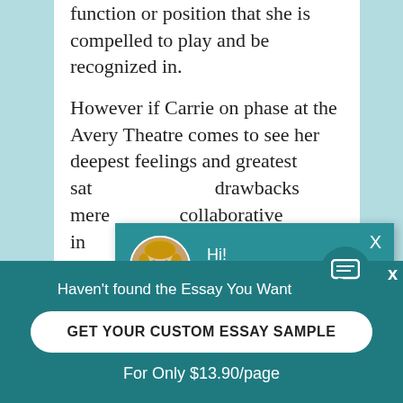function or position that she is compelled to play and be recognized in.
However if Carrie on phase at the Avery Theatre comes to see her deepest feelings and greatest sat... drawbacks mere... collaborative in... in the stimulatin... follows. The inst... success " begins... bosom and she... the ranks of the... of the dispenser... vocabulary of p...
[Figure (screenshot): Chat popup overlay with avatar of a blonde woman, header reading 'Hi! I'm Alina' on teal background, body text 'Would you like to get such a paper? How about receiving a customized one?' and bold underlined link 'Check it out']
Haven't found the Essay You Want
GET YOUR CUSTOM ESSAY SAMPLE
For Only $13.90/page